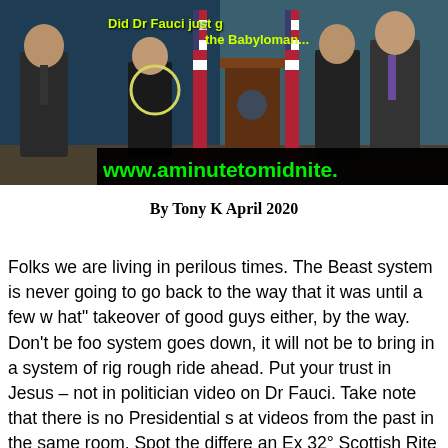[Figure (photo): Screenshot of a White House press briefing room with several figures standing at and near a podium, US flags visible. A yellow circle highlights something near the center figure. Green text overlay reads 'Did Dr Fauci just g...' and 'the Babyloman...' at top. Bottom black bar shows 'www.aminutetomidnite.' in green text.]
By Tony K April 2020
Folks we are living in perilous times. The Beast system is never going to go back to the way that it was until a few w hat" takeover of good guys either, by the way. Don't be foo system goes down, it will not be to bring in a system of rig rough ride ahead. Put your trust in Jesus – not in politician video on Dr Fauci. Take note that there is no Presidential s at videos from the past in the same room. Spot the differe an Ex 32° Scottish Rite Freemason who now puts his faith him for his thoughts on it. Please read his reply below.